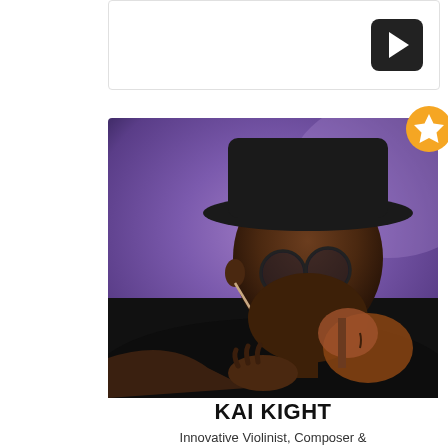[Figure (other): Top card stub with dark play button (triangle icon) on the right side]
[Figure (photo): Photo of Kai Kight, an innovative violinist and composer, wearing a wide-brim hat and glasses, holding a violin, with a purple/violet background lighting. A gold star badge appears in the upper-right corner of the photo.]
KAI KIGHT
Innovative Violinist, Composer &